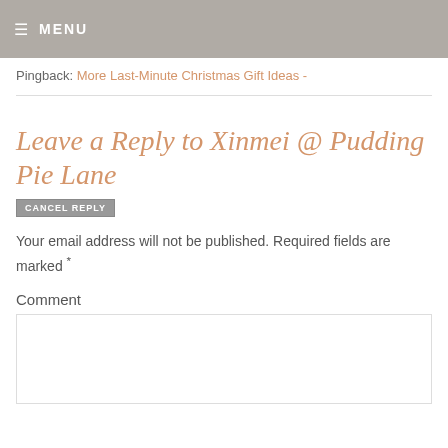≡ MENU
Pingback: More Last-Minute Christmas Gift Ideas -
Leave a Reply to Xinmei @ Pudding Pie Lane
CANCEL REPLY
Your email address will not be published. Required fields are marked *
Comment